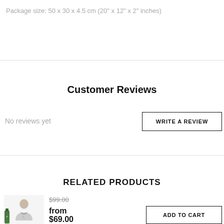Package size: 50 x 30 x 4.5 cm (20" x 12" x 2" inches)
Customer Reviews
No reviews yet
WRITE A REVIEW
RELATED PRODUCTS
[Figure (photo): Product thumbnail image showing a person illustration on a white background]
$99.00
from
$69.00
ADD TO CART